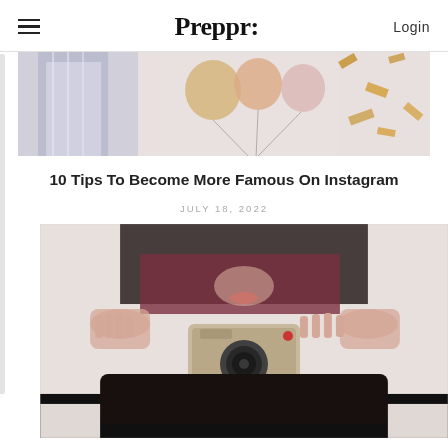Preppr: Login
[Figure (photo): Woman in silver dress holding colorful foil balloons with gold confetti, top portion cropped]
10 Tips To Become More Famous On Instagram
JULY 18, 2022
[Figure (photo): Woman lying upside down holding a vintage camera, with dark hair spread out, wearing dark and maroon clothing]